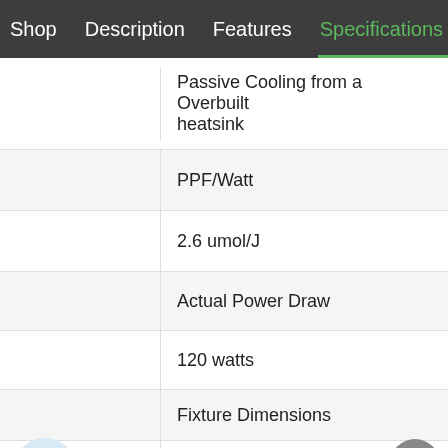Shop   Description   Features   Specifications
|  | Passive Cooling from a Overbuilt heatsink |
|  | PPF/Watt |
|  | 2.6 umol/J |
|  | Actual Power Draw |
|  | 120 watts |
|  | Fixture Dimensions |
|  | 16" L x 16" W x 2 1/4" H at dri... |
|  | Grams Per Watt |